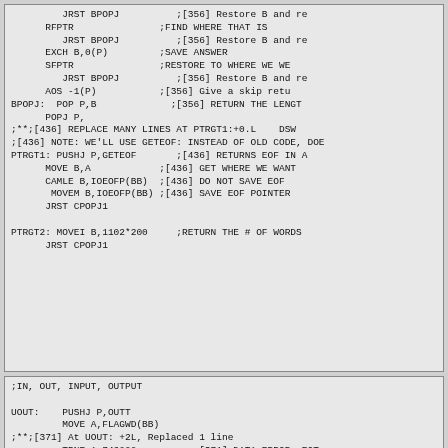Assembly code listing with BPOPJ, PTRGT1, PTRGT2 routines
;IN, OUT, INPUT, OUTPUT
UOUT: PUSHJ P,OUTT
      MOVE A,FLAGWD(BB)
;**;[371] At UOUT: +2L, Replaced 1 line
      TRNE A,742000     ;[371] DATA ERROR, EOT.
      JRST UIOSK1
      JRST UIOSK